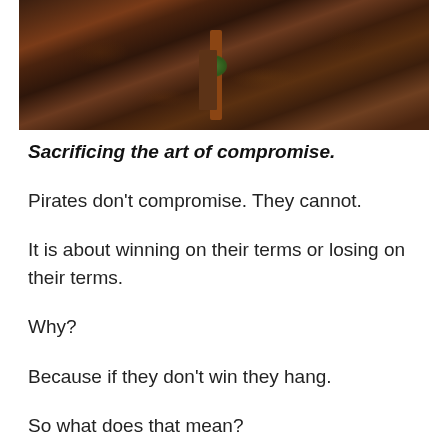[Figure (photo): Top portion of a photo showing ground covered with dead brown leaves and mulch, with a dark reddish-brown vertical stake or post in the center and a small green plant seedling visible near the base.]
Sacrificing the art of compromise.
Pirates don't compromise. They cannot.
It is about winning on their terms or losing on their terms.
Why?
Because if they don't win they hang.
So what does that mean?